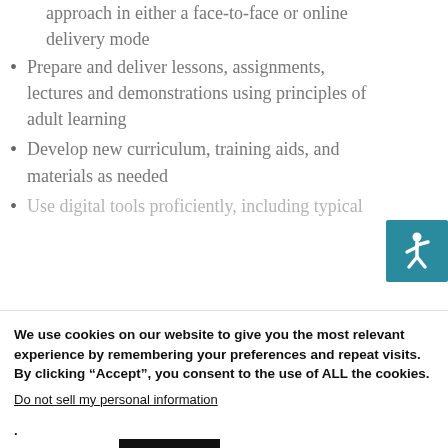approach in either a face-to-face or online delivery mode
Prepare and deliver lessons, assignments, lectures and demonstrations using principles of adult learning
Develop new curriculum, training aids, and materials as needed
Use digital tools proficiently, including typical
[Figure (logo): Accessibility icon: teal/blue-green square with a white stylized wheelchair user figure]
We use cookies on our website to give you the most relevant experience by remembering your preferences and repeat visits. By clicking “Accept”, you consent to the use of ALL the cookies.
Do not sell my personal information.
Cookie settings  ACCEPT